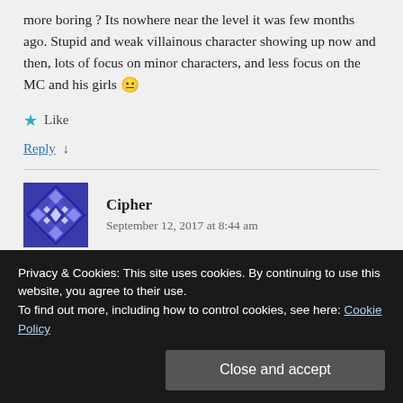more boring ? Its nowhere near the level it was few months ago. Stupid and weak villainous character showing up now and then, lots of focus on minor characters, and less focus on the MC and his girls 😐
★ Like
Reply ↓
Cipher
September 12, 2017 at 8:44 am
Privacy & Cookies: This site uses cookies. By continuing to use this website, you agree to their use.
To find out more, including how to control cookies, see here: Cookie Policy
Close and accept